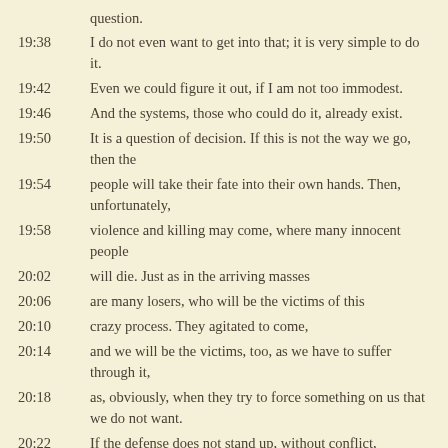question.
19:38  I do not even want to get into that; it is very simple to do it.
19:42  Even we could figure it out, if I am not too immodest.
19:46  And the systems, those who could do it, already exist.
19:50  It is a question of decision. If this is not the way we go, then the
19:54  people will take their fate into their own hands. Then, unfortunately,
19:58  violence and killing may come, where many innocent people
20:02  will die. Just as in the arriving masses
20:06  are many losers, who will be the victims of this
20:10  crazy process. They agitated to come,
20:14  and we will be the victims, too, as we have to suffer through it,
20:18  as, obviously, when they try to force something on us that we do not want.
20:22  If the defense does not stand up, without conflict,
20:26  Europe will not get out of this.
20:30  … As a closing statement,